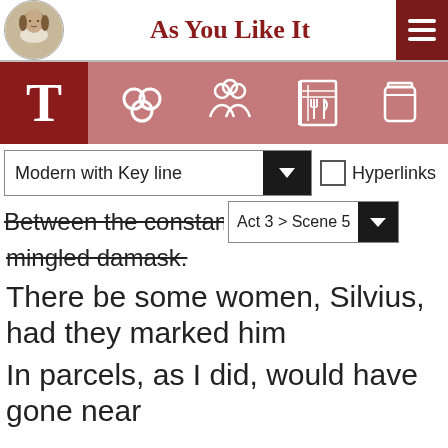As You Like It
[Figure (screenshot): App navigation bar with icons: T (text), relationships, characters, recipe book, jar]
Modern with Key line
Hyperlinks
Between the constant [cut off] mingled damask.
Act 3 > Scene 5
There be some women, Silvius, had they marked him
In parcels, as I did, would have gone near